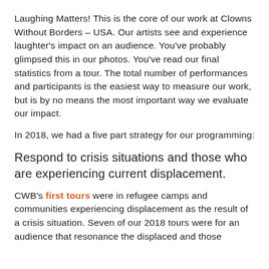Laughing Matters! This is the core of our work at Clowns Without Borders – USA. Our artists see and experience laughter's impact on an audience. You've probably glimpsed this in our photos. You've read our final statistics from a tour. The total number of performances and participants is the easiest way to measure our work, but is by no means the most important way we evaluate our impact.
In 2018, we had a five part strategy for our programming:
Respond to crisis situations and those who are experiencing current displacement.
CWB's first tours were in refugee camps and communities experiencing displacement as the result of a crisis situation. Seven of our 2018 tours were for an audience that resonance the displaced and those...